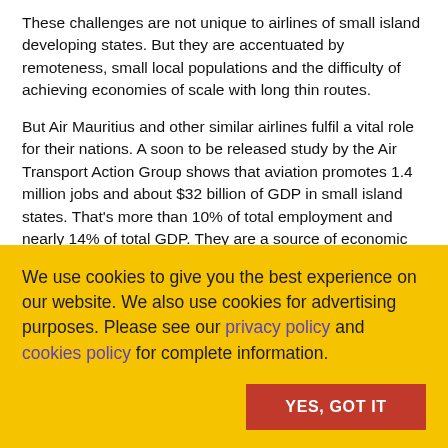These challenges are not unique to airlines of small island developing states. But they are accentuated by remoteness, small local populations and the difficulty of achieving economies of scale with long thin routes.
But Air Mauritius and other similar airlines fulfil a vital role for their nations. A soon to be released study by the Air Transport Action Group shows that aviation promotes 1.4 million jobs and about $32 billion of GDP in small island states. That's more than 10% of total employment and nearly 14% of total GDP. They are a source of economic vitality.
Anniversaries are about looking ahead. And, understanding the
We use cookies to give you the best experience on our website. We also use cookies for advertising purposes. Please see our privacy policy and cookies policy for complete information.
YES, GOT IT